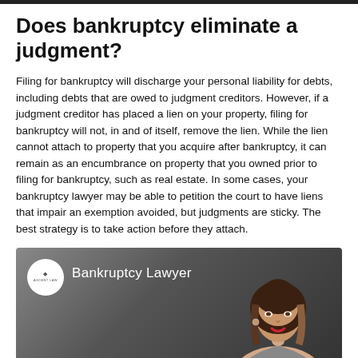Does bankruptcy eliminate a judgment?
Filing for bankruptcy will discharge your personal liability for debts, including debts that are owed to judgment creditors. However, if a judgment creditor has placed a lien on your property, filing for bankruptcy will not, in and of itself, remove the lien. While the lien cannot attach to property that you acquire after bankruptcy, it can remain as an encumbrance on property that you owned prior to filing for bankruptcy, such as real estate. In some cases, your bankruptcy lawyer may be able to petition the court to have liens that impair an exemption avoided, but judgments are sticky. The best strategy is to take action before they attach.
[Figure (photo): Video thumbnail with gradient gray background showing a woman (bankruptcy lawyer) on the right side and the Ascent Law logo circle on the left with the text 'Bankruptcy Lawyer'.]